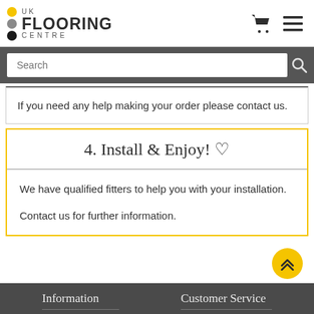UK FLOORING CENTRE
If you need any help making your order please contact us.
4. Install & Enjoy! ♡
We have qualified fitters to help you with your installation.

Contact us for further information.
Information   Customer Service